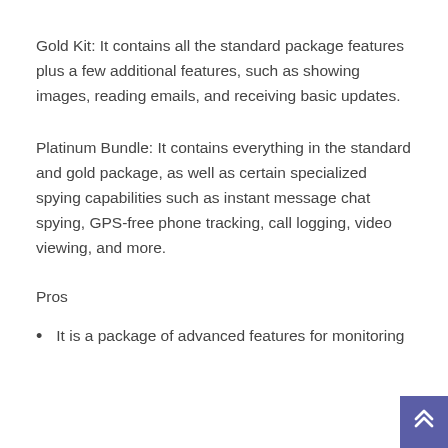Gold Kit: It contains all the standard package features plus a few additional features, such as showing images, reading emails, and receiving basic updates.
Platinum Bundle: It contains everything in the standard and gold package, as well as certain specialized spying capabilities such as instant message chat spying, GPS-free phone tracking, call logging, video viewing, and more.
Pros
It is a package of advanced features for monitoring